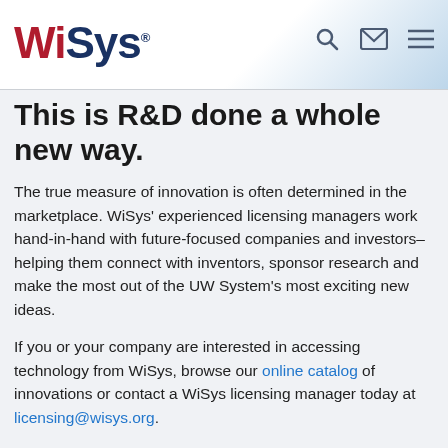WiSys® — navigation header with search, mail, and menu icons
This is R&D done a whole new way.
The true measure of innovation is often determined in the marketplace. WiSys' experienced licensing managers work hand-in-hand with future-focused companies and investors–helping them connect with inventors, sponsor research and make the most out of the UW System's most exciting new ideas.
If you or your company are interested in accessing technology from WiSys, browse our online catalog of innovations or contact a WiSys licensing manager today at licensing@wisys.org.